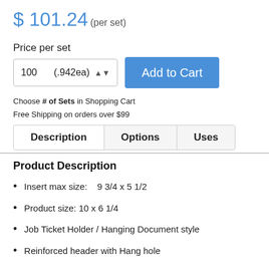$ 101.24 (per set)
Price per set
100   (.942ea)   Add to Cart
Choose # of Sets in Shopping Cart
Free Shipping on orders over $99
| Description | Options | Uses |
| --- | --- | --- |
Product Description
Insert max size:    9 3/4 x 5 1/2
Product size: 10 x 6 1/4
Job Ticket Holder / Hanging Document style
Reinforced header with Hang hole